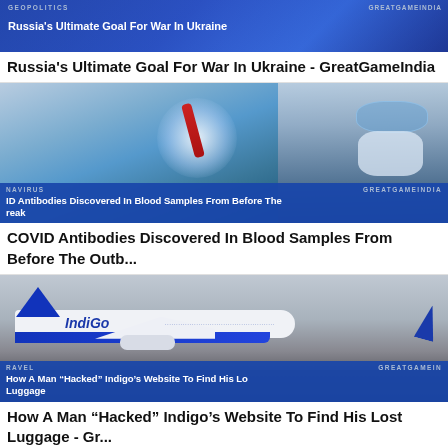[Figure (screenshot): Article card with blue banner: GEOPOLITICS label on left, GREATGAMEINDIA on right, title 'Russia's Ultimate Goal For War In Ukraine' on blue overlay]
Russia's Ultimate Goal For War In Ukraine - GreatGameIndia
[Figure (photo): Scientist in mask and gloves handling blood sample vials, with blue banner overlay: NAVIRUS / GREATGAMEINDIA and title 'ID Antibodies Discovered In Blood Samples From Before The reak']
COVID Antibodies Discovered In Blood Samples From Before The Outb...
[Figure (photo): IndiGo airline airplane on runway with blue banner overlay: TRAVEL / GREATGAMEIN and title 'How A Man "Hacked" Indigo's Website To Find His Lo Luggage']
How A Man “Hacked” Indigo’s Website To Find His Lost Luggage - Gr...
[Figure (photo): Partial preview of fourth article image, appears to show a light-colored round object]